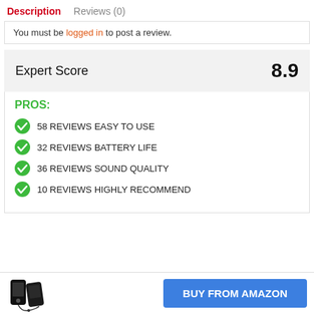Description   Reviews (0)
You must be logged in to post a review.
Expert Score   8.9
PROS:
58 REVIEWS EASY TO USE
32 REVIEWS BATTERY LIFE
36 REVIEWS SOUND QUALITY
10 REVIEWS HIGHLY RECOMMEND
[Figure (other): Product image of a small MP3 player device]
BUY FROM AMAZON